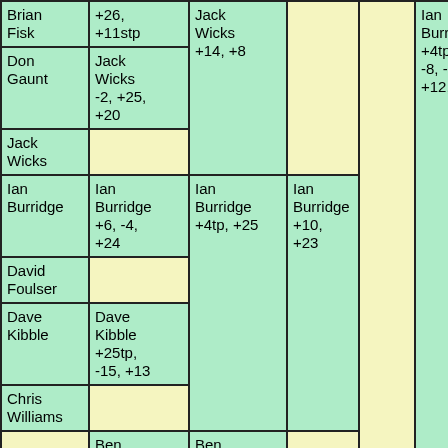| Brian Fisk | +26, +11stp | Jack Wicks +14, +8 |  |  | Ian Burridge +4tpo, -8, -13, +12, +26 |
| Don Gaunt | Jack Wicks -2, +25, +20 |  |  |  |  |
| Jack Wicks |  |  |  |  |  |
| Ian Burridge | Ian Burridge +6, -4, +24 | Ian Burridge +4tp, +25 | Ian Burridge +10, +23 |  |  |
| David Foulser |  |  |  |  |  |
| Dave Kibble | Dave Kibble +25tp, -15, +13 |  |  |  |  |
| Chris Williams |  |  |  |  |  |
|  | Ben Ashwell | Ben Ashwell +16, +14 |  |  |  |
|  | David Magee |  |  |  |  |
| Dave Nick | Dave Nick |  |  | Ian Burridge |  |